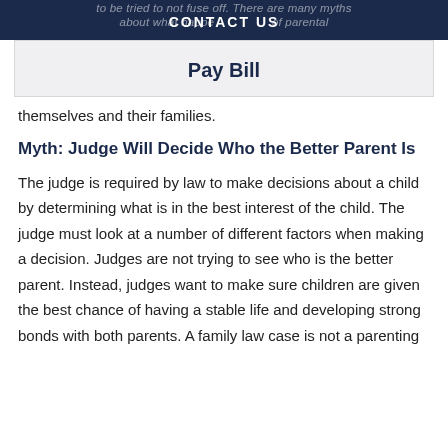CONTACT US
themselves and their families.
Myth: Judge Will Decide Who the Better Parent Is
The judge is required by law to make decisions about a child by determining what is in the best interest of the child. The judge must look at a number of different factors when making a decision. Judges are not trying to see who is the better parent. Instead, judges want to make sure children are given the best chance of having a stable life and developing strong bonds with both parents. A family law case is not a parenting